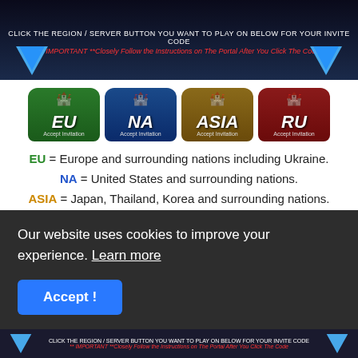[Figure (screenshot): Dark banner with white text and blue arrow icons for a game website region selector]
[Figure (infographic): Four colored region buttons: EU (green), NA (blue), ASIA (gold), RU (red), each with Accept Invitation text]
EU = Europe and surrounding nations including Ukraine.
NA = United States and surrounding nations.
ASIA = Japan, Thailand, Korea and surrounding nations.
RU = Russia, and surrounding nations.
The EU region is the most populated and to me the best region, which most players prefer, and tend to get the best one-off events with rewards.
The servers for each region runs 24/7, you can play Co-op (against bot enemy ships - easy and the fastest way to get
Our website uses cookies to improve your experience. Learn more
Accept !
CLICK THE REGION / SERVER BUTTON YOU WANT TO PLAY ON BELOW FOR YOUR INVITE CODE ** IMPORTANT **Closely Follow the Instructions on The Portal After You Click The Code